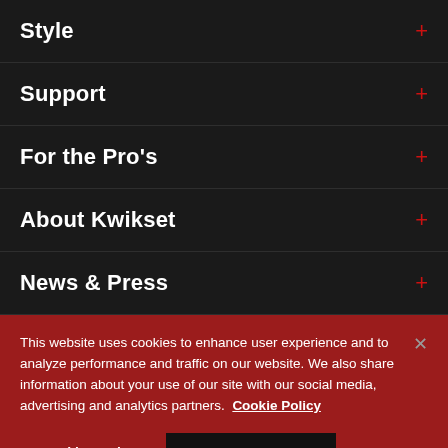Style +
Support +
For the Pro's +
About Kwikset +
News & Press +
This website uses cookies to enhance user experience and to analyze performance and traffic on our website. We also share information about your use of our site with our social media, advertising and analytics partners. Cookie Policy
Cookie Settings   Accept Cookies